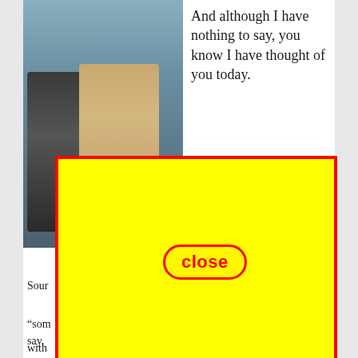[Figure (photo): Two women laughing together outdoors near rocky cliffs, one with short dark hair wearing a black and white patterned top, the other with long blonde hair wearing sunglasses]
And although I have nothing to say, you know I have thought of you today.
own
[Figure (infographic): Red rounded rectangle button labeled 'close' in red bold text on yellow background]
[Figure (other): Large yellow rectangle with red border overlay covering most of the lower portion of the page]
Sour
“som me say,
with ven’t